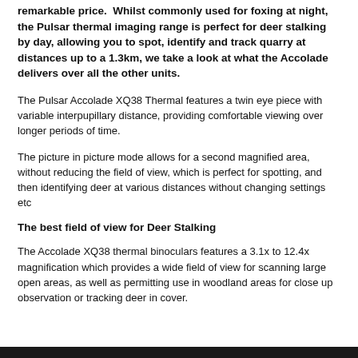remarkable price.  Whilst commonly used for foxing at night, the Pulsar thermal imaging range is perfect for deer stalking by day, allowing you to spot, identify and track quarry at distances up to a 1.3km, we take a look at what the Accolade delivers over all the other units.
The Pulsar Accolade XQ38 Thermal features a twin eye piece with variable interpupillary distance, providing comfortable viewing over longer periods of time.
The picture in picture mode allows for a second magnified area, without reducing the field of view, which is perfect for spotting, and then identifying deer at various distances without changing settings etc
The best field of view for Deer Stalking
The Accolade XQ38 thermal binoculars features a 3.1x to 12.4x magnification which provides a wide field of view for scanning large open areas, as well as permitting use in woodland areas for close up observation or tracking deer in cover.